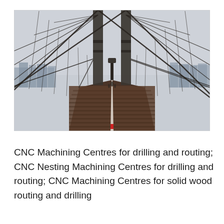[Figure (photo): Perspective view down the walkway of a suspension bridge (Brooklyn Bridge style), looking toward a city skyline. Suspension cables radiate diagonally from two tall towers. The wooden boardwalk has a center white line with a red marker near the bottom. People are visible in the distance on the walkway.]
CNC Machining Centres for drilling and routing; CNC Nesting Machining Centres for drilling and routing; CNC Machining Centres for solid wood routing and drilling